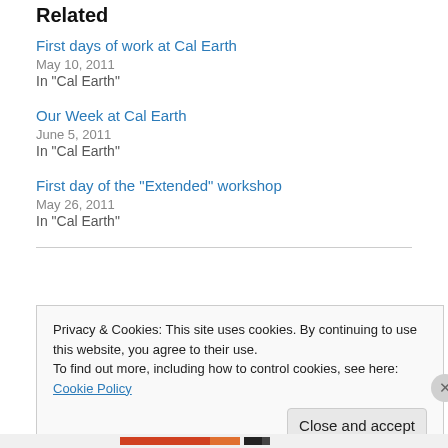Related
First days of work at Cal Earth
May 10, 2011
In "Cal Earth"
Our Week at Cal Earth
June 5, 2011
In "Cal Earth"
First day of the “Extended” workshop
May 26, 2011
In "Cal Earth"
Privacy & Cookies: This site uses cookies. By continuing to use this website, you agree to their use.
To find out more, including how to control cookies, see here: Cookie Policy